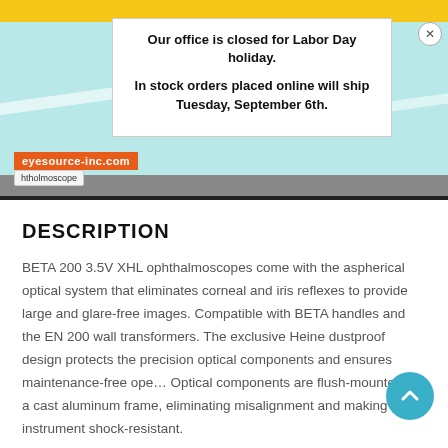[Figure (screenshot): Screenshot of an eyecare/ophthalmoscope retail website with teal background, yellow banner at top, orange URL bar, and gray navigation area.]
Our office is closed for Labor Day holiday.

In stock orders placed online will ship Tuesday, September 6th.
DESCRIPTION
BETA 200 3.5V XHL ophthalmoscopes come with the aspherical optical system that eliminates corneal and iris reflexes to provide large and glare-free images. Compatible with BETA handles and the EN 200 wall transformers. The exclusive Heine dustproof design protects the precision optical components and ensures maintenance-free ope... Optical components are flush-mounted on a cast aluminum frame, eliminating misalignment and making the instrument shock-resistant.